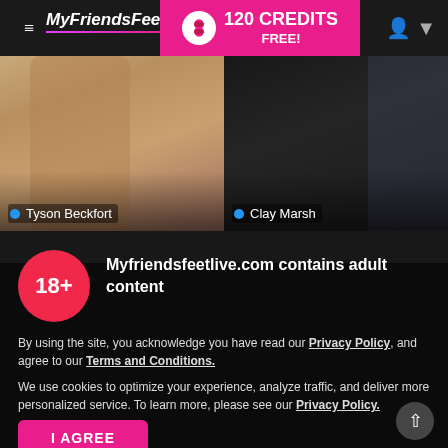MyFriendsFeet chat — 120 CREDITS FREE!
[Figure (screenshot): Two side-by-side profile photos. Left: shirtless tattooed person labeled 'Tyson Beckfort' with blue online dot. Right: person in dark jacket taking mirror selfie labeled 'Clay Marsh' with blue online dot.]
Myfriendsfeetlive.com contains adult content
By using the site, you acknowledge you have read our Privacy Policy, and agree to our Terms and Conditions.
We use cookies to optimize your experience, analyze traffic, and deliver more personalized service. To learn more, please see our Privacy Policy.
I AGREE